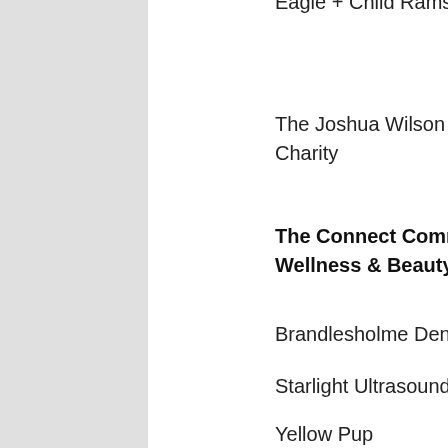Eagle + Child Ramsbottom
The Joshua Wilson Brain Tumour Charity
The Connect Comms Health, Wellness & Beauty Award
Brandlesholme Dentistry
Starlight Ultrasound
Yellow Pup